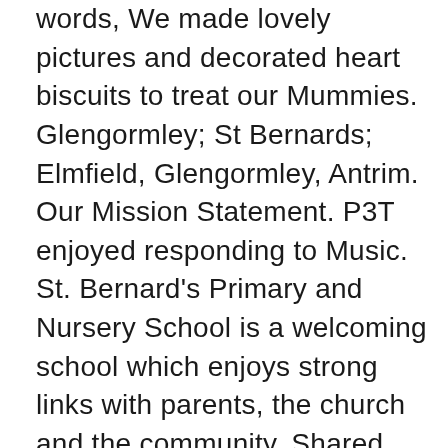words, We made lovely pictures and decorated heart biscuits to treat our Mummies. Glengormley; St Bernards; Elmfield, Glengormley, Antrim. Our Mission Statement. P3T enjoyed responding to Music. St. Bernard's Primary and Nursery School is a welcoming school which enjoys strong links with parents, the church and the community. Shared Education- our last activity of the year. Having fun and making art in the school garden in the style of Andy Goldsworthy. At School Days Ltd we have a wide varierty of St Bernard's Primary and much more. Please download attached documents outlining important information for Admissions to St. Bernard's Primary and Nursery School for September 2021. St. Barnabas Church of England Primary School. Be The First To Write A Review. We are learning to add numbers by playing â snap itâ . Please visit the GALLERY section of the